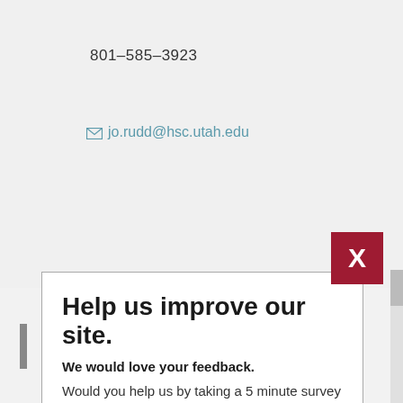801-585-3923
jo.rudd@hsc.utah.edu
Help us improve our site.
We would love your feedback.
Would you help us by taking a 5 minute survey today about your visit to our website?
No, Thanks
Yes, Take Survey